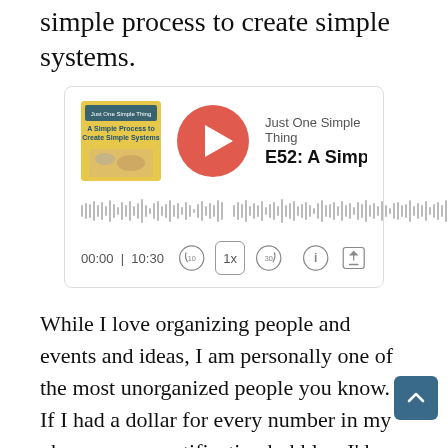simple process to create simple systems.
[Figure (screenshot): Podcast player widget showing episode E52: A Simple Process from Just One Simple Thing podcast. Shows album art, red play button, waveform, time 00:00 / 10:30, and playback controls (rewind 10, speed 1x, forward 30, info, share).]
While I love organizing people and events and ideas, I am personally one of the most unorganized people you know. If I had a dollar for every number in my phone screen notification bubbles, I'd finally have that six-figure...